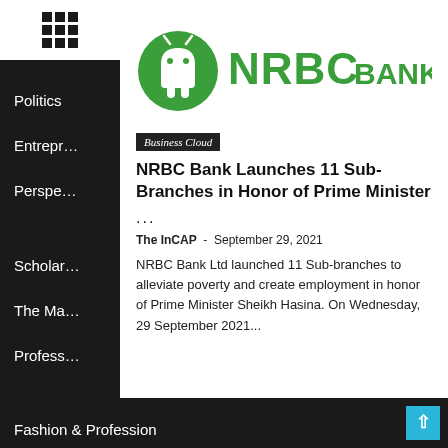[Figure (logo): NRBC Bank logo with green circular icon and green text]
Business Cloud
NRBC Bank Launches 11 Sub-Branches in Honor of Prime Minister
...
The InCAP  -  September 29, 2021
NRBC Bank Ltd launched 11 Sub-branches to alleviate poverty and create employment in honor of Prime Minister Sheikh Hasina. On Wednesday, 29 September 2021...
Politics
Entrepr
Perspe
Scholar
The Ma
Profess
Fashion & Profession